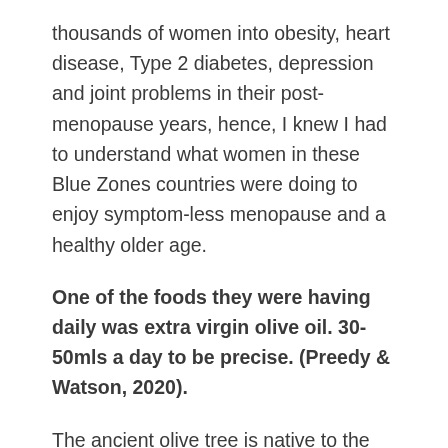thousands of women into obesity, heart disease, Type 2 diabetes, depression and joint problems in their post-menopause years, hence, I knew I had to understand what women in these Blue Zones countries were doing to enjoy symptom-less menopause and a healthy older age.
One of the foods they were having daily was extra virgin olive oil. 30-50mls a day to be precise. (Preedy & Watson, 2020).
The ancient olive tree is native to the Mediterranean Basin and much of the Middle